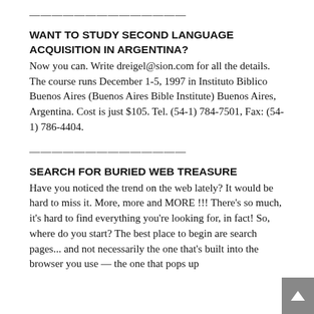——————————————
WANT TO STUDY SECOND LANGUAGE ACQUISITION IN ARGENTINA?
Now you can. Write dreigel@sion.com for all the details. The course runs December 1-5, 1997 in Instituto Biblico Buenos Aires (Buenos Aires Bible Institute) Buenos Aires, Argentina. Cost is just $105. Tel. (54-1) 784-7501, Fax: (54-1) 786-4404.
——————————————
SEARCH FOR BURIED WEB TREASURE
Have you noticed the trend on the web lately? It would be hard to miss it. More, more and MORE !!! There's so much, it's hard to find everything you're looking for, in fact! So, where do you start? The best place to begin are search pages... and not necessarily the one that's built into the browser you use — the one that pops up